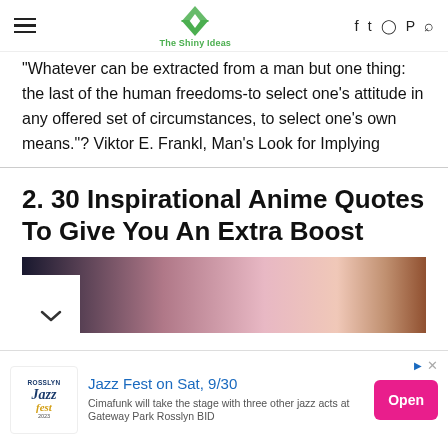The Shiny Ideas — navigation bar with hamburger menu, logo, and social icons
"Whatever can be extracted from a man but one thing: the last of the human freedoms-to select one's attitude in any offered set of circumstances, to select one's own means."? Viktor E. Frankl, Man's Look for Implying
2. 30 Inspirational Anime Quotes To Give You An Extra Boost
[Figure (photo): Anime illustration showing stylized characters with pink tones and a brown teddy bear in the background]
[Figure (other): Advertisement banner: Jazz Fest on Sat, 9/30 — Rosslyn JazzFest logo with text 'Cimafunk will take the stage with three other jazz acts at Gateway Park Rosslyn BID' and Open button]